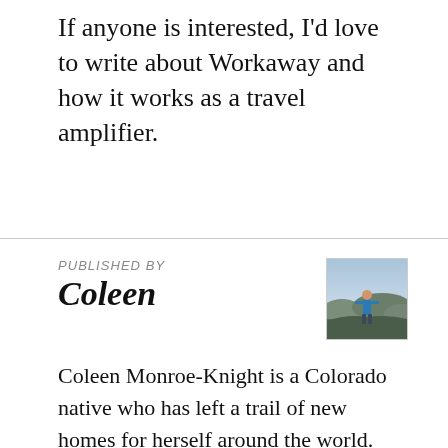If anyone is interested, I'd love to write about Workaway and how it works as a travel amplifier.
PUBLISHED BY
Coleen
[Figure (photo): Small thumbnail portrait photo of Coleen standing on a mountain ridge wearing a blue jacket]
Coleen Monroe-Knight is a Colorado native who has left a trail of new homes for herself around the world. She's set foot in 30 countries and lived on four continents in the last thirteen years. Her nomad homes are in Colorado, Chilean Patagonia, France, Italy, Switzerland,